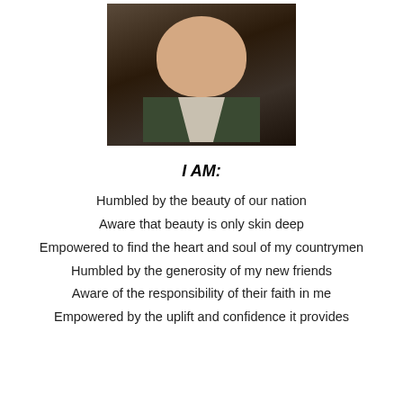[Figure (photo): Close-up photo of an older heavyset man wearing a green vest over a white/cream shirt, looking at the camera, dark background.]
I AM:
Humbled by the beauty of our nation
Aware that beauty is only skin deep
Empowered to find the heart and soul of my countrymen
Humbled by the generosity of my new friends
Aware of the responsibility of their faith in me
Empowered by the uplift and confidence it provides